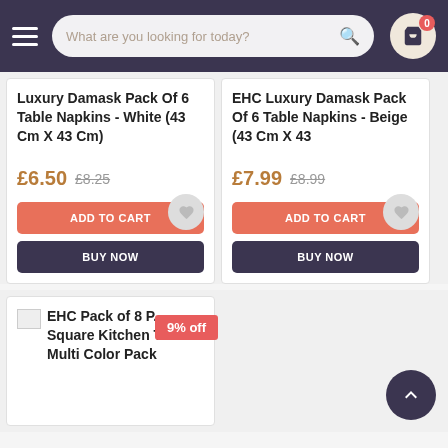What are you looking for today?
Luxury Damask Pack Of 6 Table Napkins - White (43 Cm X 43 Cm)
£6.50  £8.25
ADD TO CART
BUY NOW
EHC Luxury Damask Pack Of 6 Table Napkins - Beige (43 Cm X 43
£7.99  £8.99
ADD TO CART
BUY NOW
EHC Pack of 8 P... Square Kitchen Tower - Multi Color Pack
9% off